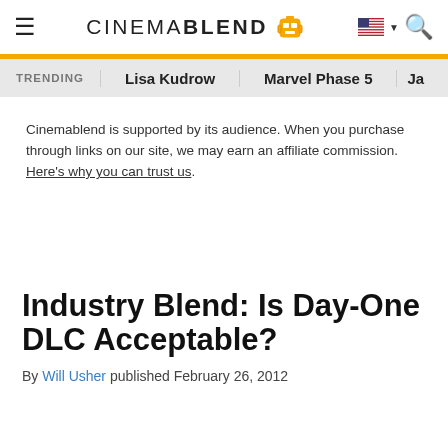CinemaBlend
TRENDING   Lisa Kudrow   Marvel Phase 5   Ja…
Cinemablend is supported by its audience. When you purchase through links on our site, we may earn an affiliate commission. Here's why you can trust us.
Industry Blend: Is Day-One DLC Acceptable?
By Will Usher published February 26, 2012